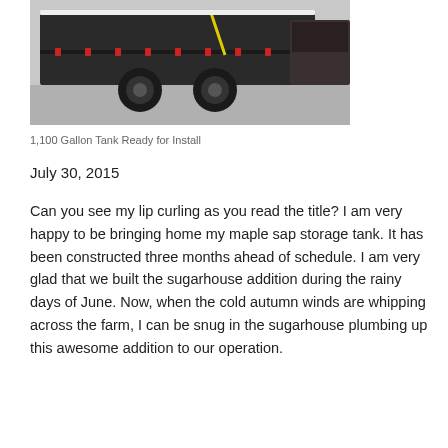[Figure (photo): A large dark-colored dump trailer with dual axle wheels on a paved surface, loaded with what appears to be a large black tank secured with a yellow strap. Part of another vehicle is visible on the right side.]
1,100 Gallon Tank Ready for Install
July 30, 2015
Can you see my lip curling as you read the title? I am very happy to be bringing home my maple sap storage tank. It has been constructed three months ahead of schedule. I am very glad that we built the sugarhouse addition during the rainy days of June. Now, when the cold autumn winds are whipping across the farm, I can be snug in the sugarhouse plumbing up this awesome addition to our operation.